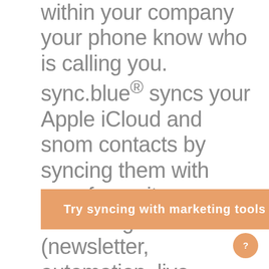within your company your phone know who is calling you. sync.blue® syncs your Apple iCloud and snom contacts by syncing them with your favourite marketing tool (newsletter, automation, live-chat,...). This is how you make money of your business contacts.
Try syncing with marketing tools now